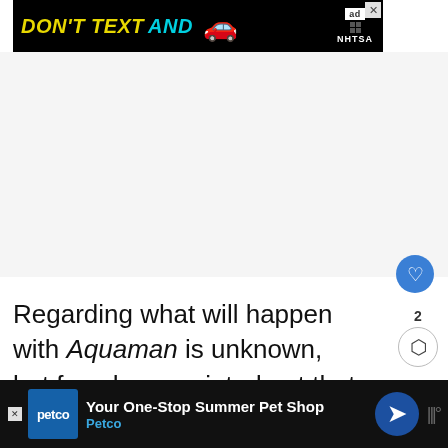[Figure (screenshot): NHTSA 'Don't Text and Drive' advertisement banner with black background, yellow italic bold text 'DON'T TEXT AND', cyan bold text 'AND', red car emoji, and NHTSA logo with 'ad' label. Close button in top right.]
[Figure (other): Blue circular heart/favorite button]
Regarding what will happen with Aquaman is unknown, but fans have pointed out that star Jason Momoa stopped following Heard on social media back in 2018 which was prior to Heard calling out Momoa's st... or
[Figure (other): Share icon with count showing 2, circular share button]
[Figure (screenshot): What's Next panel showing thumbnail of person, label 'WHAT'S NEXT →', and title 'Marvel Fans Reject She-...']
[Figure (screenshot): Petco bottom advertisement bar with dark background: 'Your One-Stop Summer Pet Shop' text, Petco branding in blue and cyan, navigation arrow button, and website logo marks]